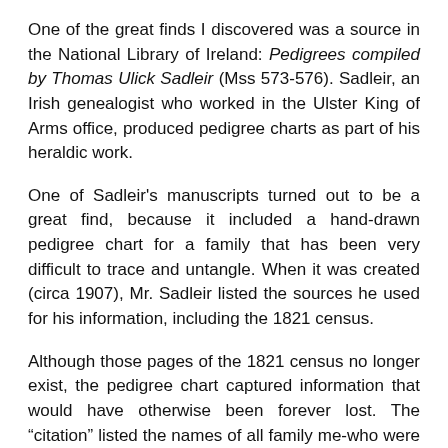One of the great finds I discovered was a source in the National Library of Ireland: Pedigrees compiled by Thomas Ulick Sadleir (Mss 573-576). Sadleir, an Irish genealogist who worked in the Ulster King of Arms office, produced pedigree charts as part of his heraldic work.
One of Sadleir's manuscripts turned out to be a great find, because it included a hand-drawn pedigree chart for a family that has been very difficult to trace and untangle. When it was created (circa 1907), Mr. Sadleir listed the sources he used for his information, including the 1821 census.
Although those pages of the 1821 census no longer exist, the pedigree chart captured information that would have otherwise been forever lost. The "citation" listed the names of all family members who were alive in 1821, who lived in each house, their ages and their occupations.